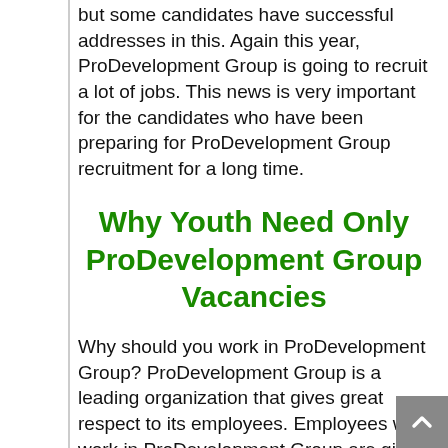but some candidates have successful addresses in this. Again this year, ProDevelopment Group is going to recruit a lot of jobs. This news is very important for the candidates who have been preparing for ProDevelopment Group recruitment for a long time.
Why Youth Need Only ProDevelopment Group Vacancies
Why should you work in ProDevelopment Group? ProDevelopment Group is a leading organization that gives great respect to its employees. Employees who work in ProDevelopment Group are given a very